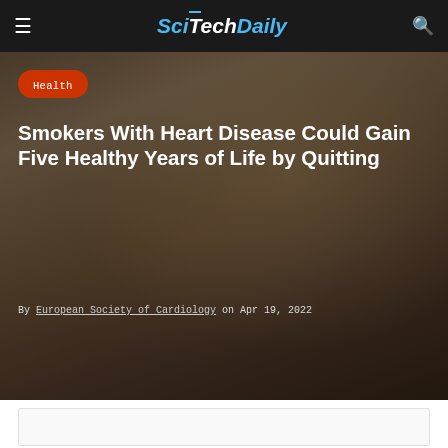SciTechDaily
[Figure (photo): Close-up photograph of hands crushing cigarettes, with scattered cigarette butts on a surface, dark moody background]
Health
Smokers With Heart Disease Could Gain Five Healthy Years of Life by Quitting
By European Society of Cardiology on Apr 19, 2022